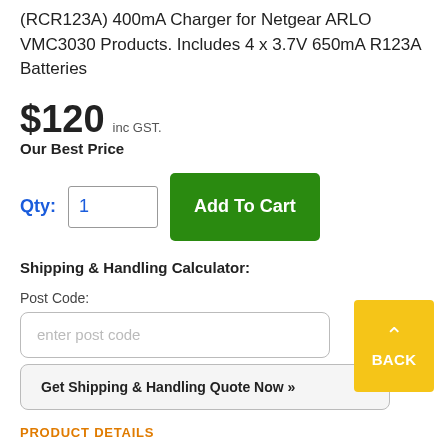(RCR123A) 400mA Charger for Netgear ARLO VMC3030 Products. Includes 4 x 3.7V 650mA R123A Batteries
$120 inc GST.
Our Best Price
Qty: 1   Add To Cart
Shipping & Handling Calculator:
Post Code:
enter post code
Get Shipping & Handling Quote Now »
BACK
PRODUCT DETAILS